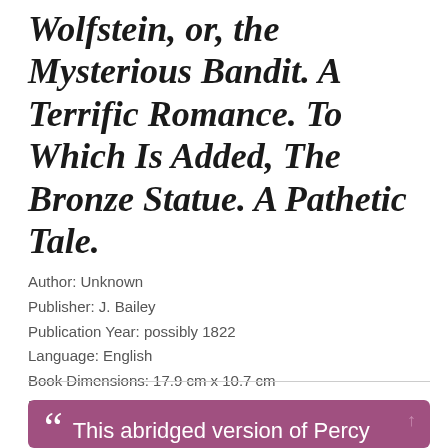Wolfstein, or, the Mysterious Bandit. A Terrific Romance. To Which Is Added, The Bronze Statue. A Pathetic Tale.
Author: Unknown
Publisher: J. Bailey
Publication Year: possibly 1822
Language: English
Book Dimensions: 17.9 cm x 10.7 cm
Pages: 28
University of Virginia Library Catalog Entry, Sadleir-Black Collection: PZ2.W742 1800
This abridged version of Percy